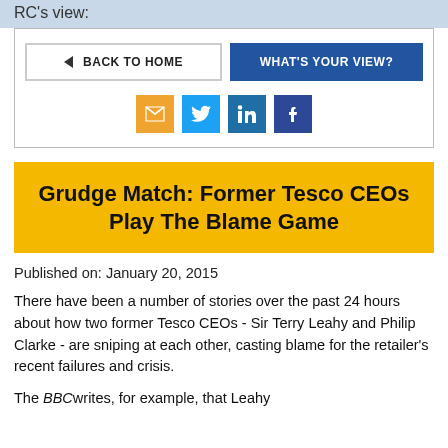RC's view:
[Figure (screenshot): Navigation bar with 'BACK TO HOME' and 'WHAT'S YOUR VIEW?' buttons, and social media share icons (email, Twitter, LinkedIn, Facebook)]
Grudge Match: Former Tesco CEOs Play The Blame Game
Published on: January 20, 2015
There have been a number of stories over the past 24 hours about how two former Tesco CEOs - Sir Terry Leahy and Philip Clarke - are sniping at each other, casting blame for the retailer's recent failures and crisis.
The BBCwrites, for example, that Leahy